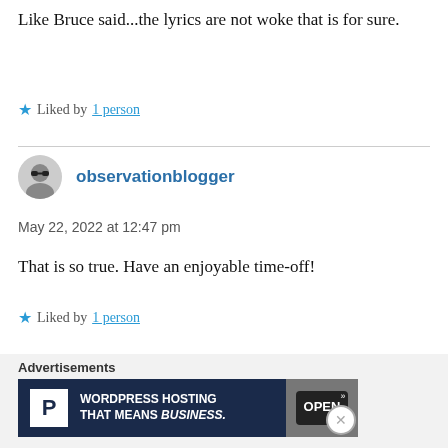Like Bruce said...the lyrics are not woke that is for sure.
★ Liked by 1 person
observationblogger
May 22, 2022 at 12:47 pm
That is so true. Have an enjoyable time-off!
★ Liked by 1 person
Advertisements
[Figure (screenshot): WordPress hosting advertisement banner: dark navy background with white P logo icon, text 'WORDPRESS HOSTING THAT MEANS BUSINESS.' and a photo of an OPEN sign on the right.]